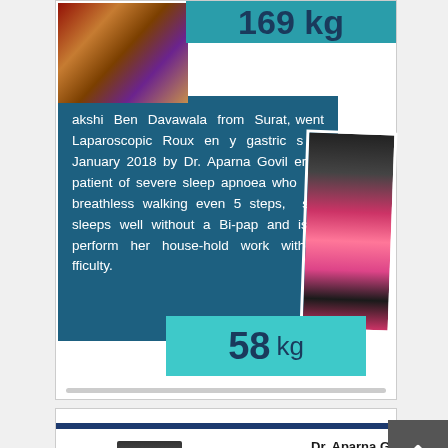[Figure (photo): Top section: patient testimonial card. Shows a before photo (top-left, person in traditional dress), a teal badge showing starting weight '169 kg', a dark blue text box with patient story about Lakshmi Ben Davawala from Surat who underwent Laparoscopic Roux en y gastric bypass in January 2018 by Dr. Aparna Govilkar, an after photo (right side, person in pink saree), and a teal badge showing current weight '58 kg'.]
akshi Ben Davawala from Surat, went Laparoscopic Roux en y gastric s in January 2018 by Dr. Aparna Govil er. A patient of severe sleep apnoea who be breathless walking even 5 steps, she sleeps well without a Bi-pap and is o perform her house-hold work without fficulty.
[Figure (photo): Bottom section: second card with a dark blue horizontal stripe at top, 'Dr. Aparna G' name header with 'Bariatric and Lapan' subtitle, two circular/portrait photos of doctors at bottom-left, and partial italic red text reading 'inspiring An' (beginning of a heading).]